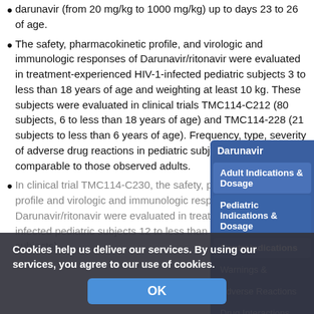darunavir (from 20 mg/kg to 1000 mg/kg) up to days 23 to 26 of age.
The safety, pharmacokinetic profile, and virologic and immunologic responses of Darunavir/ritonavir were evaluated in treatment-experienced HIV-1-infected pediatric subjects 3 to less than 18 years of age and weighting at least 10 kg. These subjects were evaluated in clinical trials TMC114-C212 (80 subjects, 6 to less than 18 years of age) and TMC114-228 (21 subjects to less than 6 years of age). Frequency, type, severity of adverse drug reactions in pediatric subjects were comparable to those observed adults.
In clinical trial TMC114-C230, the safety, pharmacokinetic profile and virologic and immunologic responses of Darunavir/ritonavir were evaluated in treatment-naïve HIV-1 infected pediatric subjects 12 to less than 18 years of age (13 subjects).
[Figure (other): Sidebar navigation menu for Darunavir drug information page with items: Darunavir (title), Adult Indications & Dosage, Pediatric Indications & Dosage, Contraindications, Warnings & (truncated), Adverse Reactions, Drug Interactions]
Cookies help us deliver our services. By using our services, you agree to our use of cookies.
OK